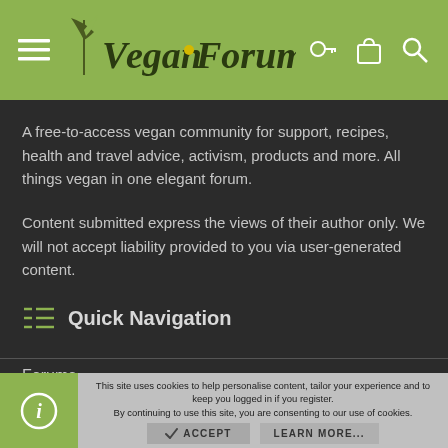Vegan Forum — navigation header with hamburger menu, logo, key icon, bag icon, search icon
A free-to-access vegan community for support, recipes, health and travel advice, activism, products and more. All things vegan in one elegant forum.
Content submitted express the views of their author only. We will not accept liability provided to you via user-generated content.
Quick Navigation
Forums
This site uses cookies to help personalise content, tailor your experience and to keep you logged in if you register.
By continuing to use this site, you are consenting to our use of cookies.